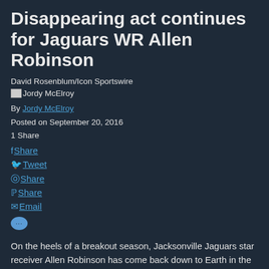Disappearing act continues for Jaguars WR Allen Robinson
David Rosenblum/Icon Sportswire
By Jordy McElroy
Posted on September 20, 2016
1 Share
Share
Tweet
Share
Share
Email
On the heels of a breakout season, Jacksonville Jaguars star receiver Allen Robinson has come back down to Earth in the first couple of weeks of the regular season. He has simply looked good but not great, and that isn't going to cut it on a team clearly struggling to find its offensive identity.